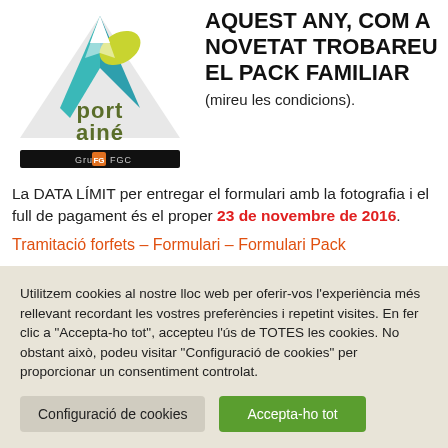[Figure (logo): Port Ainé ski resort logo with mountain graphic and 'Grup FGC' branding]
AQUEST ANY, COM A NOVETAT TROBAREU EL PACK FAMILIAR (mireu les condicions).
La DATA LÍMIT per entregar el formulari amb la fotografia i el full de pagament és el proper 23 de novembre de 2016.
Tramitació forfets – Formulari – Formulari Pack
Utilitzem cookies al nostre lloc web per oferir-vos l'experiència més rellevant recordant les vostres preferències i repetint visites. En fer clic a "Accepta-ho tot", accepteu l'ús de TOTES les cookies. No obstant això, podeu visitar "Configuració de cookies" per proporcionar un consentiment controlat.